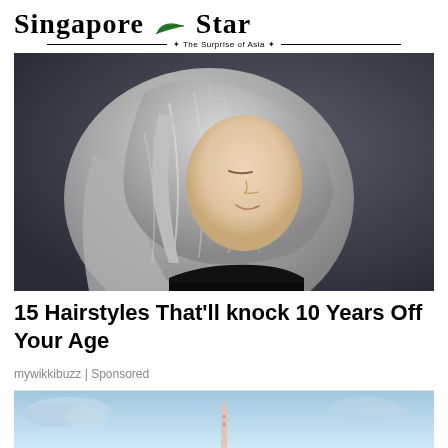Singapore Star — The Surprise of Asia
[Figure (photo): A woman with a silver/gray bob hairstyle, eyes downcast, smiling, wearing a black top, photographed against a dark gray background.]
15 Hairstyles That'll knock 10 Years Off Your Age
mywikkibuzz | Sponsored
[Figure (illustration): Partial illustration showing a sky scene with clouds and what appears to be a tower or landmark, in light blue tones.]